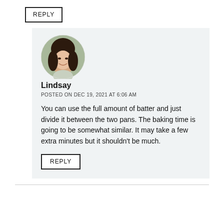REPLY
[Figure (photo): Circular avatar photo of a woman with dark hair, smiling, with a blurred outdoor background.]
Lindsay
POSTED ON DEC 19, 2021 AT 6:06 AM
You can use the full amount of batter and just divide it between the two pans. The baking time is going to be somewhat similar. It may take a few extra minutes but it shouldn't be much.
REPLY